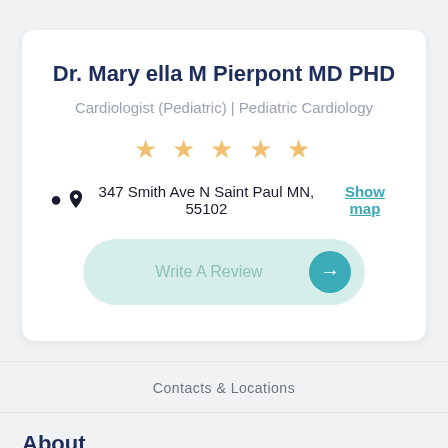Dr. Mary ella M Pierpont MD PHD
Cardiologist (Pediatric) | Pediatric Cardiology
[Figure (other): Five star rating icons in gold/yellow color]
347 Smith Ave N Saint Paul MN, 55102  Show map
Write A Review
Contacts & Locations
About